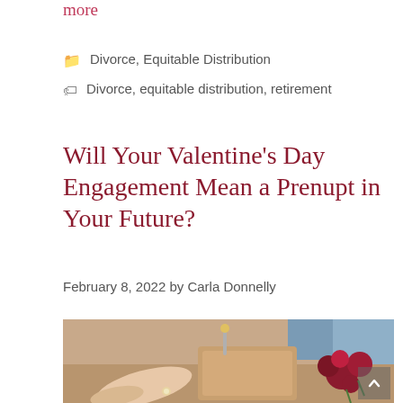more
Divorce, Equitable Distribution
Divorce, equitable distribution, retirement
Will Your Valentine's Day Engagement Mean a Prenupt in Your Future?
February 8, 2022 by Carla Donnelly
[Figure (photo): Close-up of two hands touching over a table with red roses in the background, suggesting a romantic engagement scene.]